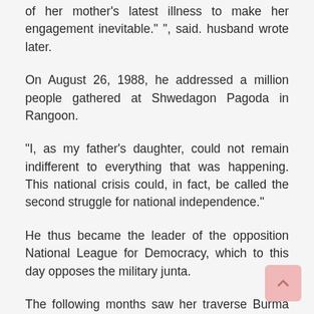of her mother's latest illness to make her engagement inevitable." ", said. husband wrote later.
On August 26, 1988, he addressed a million people gathered at Shwedagon Pagoda in Rangoon.
“I, as my father's daughter, could not remain indifferent to everything that was happening. This national crisis could, in fact, be called the second struggle for national independence.”
He thus became the leader of the opposition National League for Democracy, which to this day opposes the military junta.
The following months saw her traverse Burma and address hundreds of meetings. The board was getting increasingly nervous, and on July 20, 1989, she was arrested. From that day on she has spent most of her time in jail or in confinement.
In May 1990, despite his continued arrest, his party